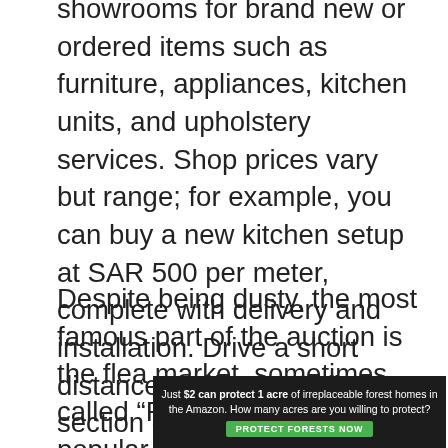showrooms for brand new or ordered items such as furniture, appliances, kitchen units, and upholstery services. Shop prices vary but range; for example, you can buy a new kitchen setup at SAR 500 per meter, complete with delivery and installation. Drive a short distance, and you will find a section of Haraj dedicated to car repairs, spare parts, and the sale of used cars. Go ahead, and you will find a garden nursery that sells pottery, small plants, and even trees.
Despite being dusty, the most famous part of the auction is the flea market, sometimes called “Princess Souq”.It is popular because of the cheapness of the dirt. The dirt-cheap” means most
[Figure (other): Advertisement banner with dark background. Text reads: 'Just $2 can protect 1 acre of irreplaceable forest homes in the Amazon. How many acres are you willing to protect?' with a green 'PROTECT FORESTS NOW' button.]